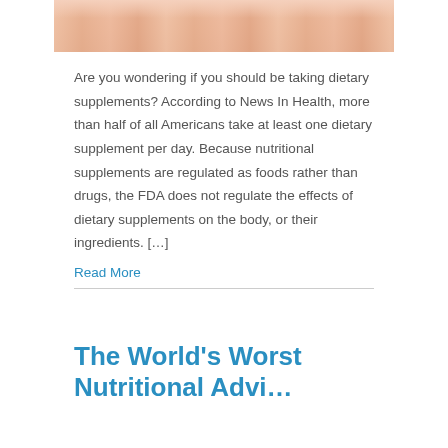[Figure (photo): Cropped photo showing multiple fingers/hands holding small items, skin-toned background]
Are you wondering if you should be taking dietary supplements? According to News In Health, more than half of all Americans take at least one dietary supplement per day. Because nutritional supplements are regulated as foods rather than drugs, the FDA does not regulate the effects of dietary supplements on the body, or their ingredients. […]
Read More
The World's Worst Nutritional Advi…